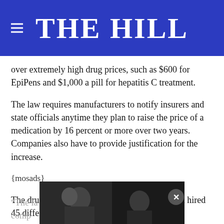THE HILL
over extremely high drug prices, such as $600 for EpiPens and $1,000 a pill for hepatitis C treatment.
The law requires manufacturers to notify insurers and state officials anytime they plan to raise the price of a medication by 16 percent or more over two years. Companies also have to provide justification for the increase.
{mosads}
The drug lobby vigorously opposed the law, and hired 45 different firms in an attempt to defeat it.
“The la… arket comp…